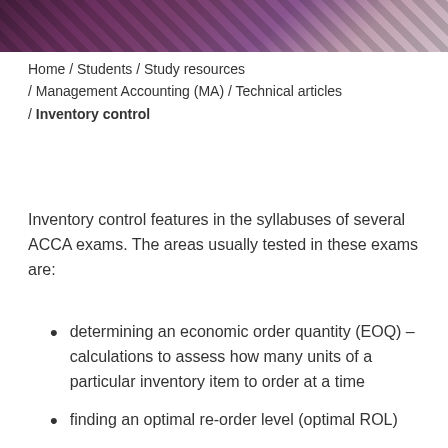[Figure (photo): Decorative header image with purple/mauve geometric striped pattern]
Home / Students / Study resources / Management Accounting (MA) / Technical articles / Inventory control
Inventory control features in the syllabuses of several ACCA exams. The areas usually tested in these exams are:
determining an economic order quantity (EOQ) – calculations to assess how many units of a particular inventory item to order at a time
finding an optimal re-order level (optimal ROL)